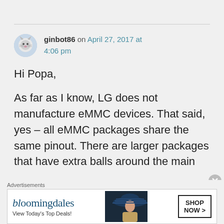[Figure (illustration): User avatar icon (cat/animal illustration in circular frame) for user ginbot86]
ginbot86 on April 27, 2017 at 4:06 pm
Hi Popa,

As far as I know, LG does not manufacture eMMC devices. That said, yes – all eMMC packages share the same pinout. There are larger packages that have extra balls around the main
Advertisements
[Figure (photo): Bloomingdale's advertisement banner with woman in large hat. Text: bloomingdales, View Today's Top Deals!, SHOP NOW >]